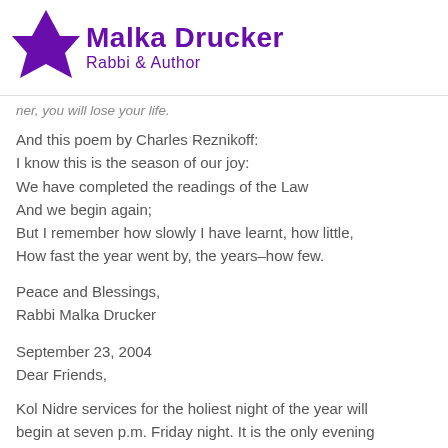Malka Drucker Rabbi & Author
ner, you will lose your life.
And this poem by Charles Reznikoff:
I know this is the season of our joy:
We have completed the readings of the Law
And we begin again;
But I remember how slowly I have learnt, how little,
How fast the year went by, the years–how few.
Peace and Blessings,
Rabbi Malka Drucker
September 23, 2004
Dear Friends,
Kol Nidre services for the holiest night of the year will begin at seven p.m. Friday night. It is the only evening